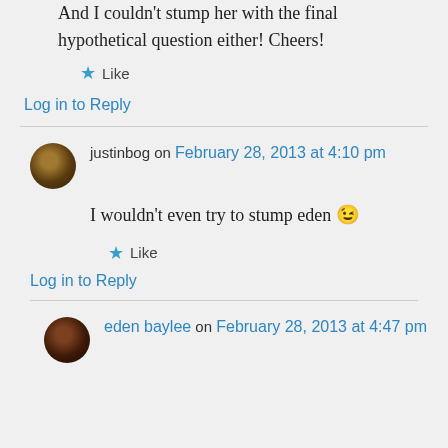And I couldn't stump her with the final hypothetical question either! Cheers!
★ Like
Log in to Reply
justinbog on February 28, 2013 at 4:10 pm
I wouldn't even try to stump eden 😉
★ Like
Log in to Reply
eden baylee on February 28, 2013 at 4:47 pm